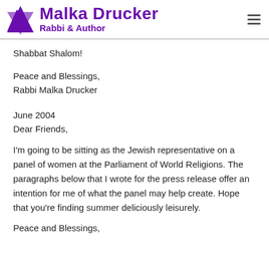Malka Drucker — Rabbi & Author
Shabbat Shalom!
Peace and Blessings,
Rabbi Malka Drucker
June 2004
Dear Friends,
I'm going to be sitting as the Jewish representative on a panel of women at the Parliament of World Religions. The paragraphs below that I wrote for the press release offer an intention for me of what the panel may help create. Hope that you're finding summer deliciously leisurely.
Peace and Blessings,